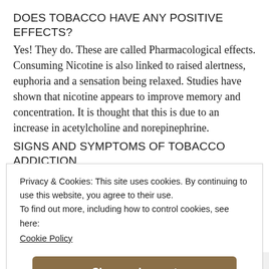DOES TOBACCO HAVE ANY POSITIVE EFFECTS?
Yes! They do. These are called Pharmacological effects. Consuming Nicotine is also linked to raised alertness, euphoria and a sensation being relaxed. Studies have shown that nicotine appears to improve memory and concentration. It is thought that this is due to an increase in acetylcholine and norepinephrine.
SIGNS AND SYMPTOMS OF TOBACCO ADDICTION
Some people can smoke socially or occasionally, but
Privacy & Cookies: This site uses cookies. By continuing to use this website, you agree to their use.
To find out more, including how to control cookies, see here: Cookie Policy
Close and accept